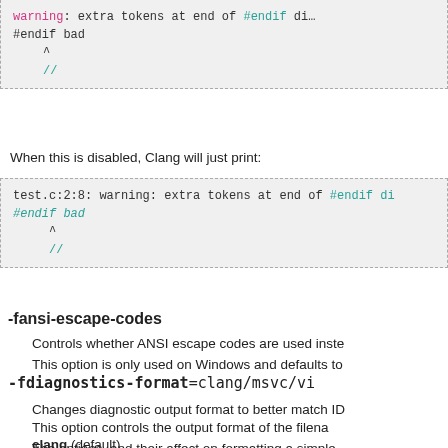[Figure (screenshot): Code block showing: #endif bad with ^ and // lines, with magenta warning text and cyan #endif directive]
When this is disabled, Clang will just print:
[Figure (screenshot): Code block showing: test.c:2:8: warning: extra tokens at end of #endif di... and #endif bad (cyan italic), with ^ and // lines]
-fansi-escape-codes
Controls whether ANSI escape codes are used inste... This option is only used on Windows and defaults to
-fdiagnostics-format=clang/msvc/vi
Changes diagnostic output format to better match ID
This option controls the output format of the filena... The options, and their affect on formatting a simple
clang (default)